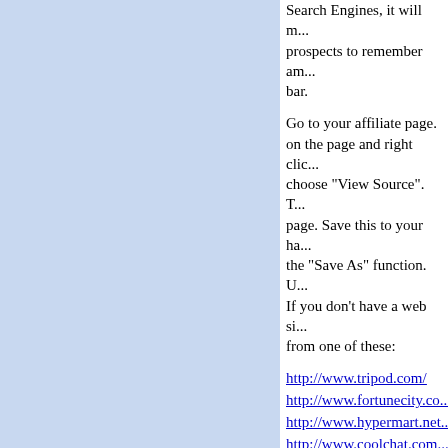Search Engines, it will m... prospects to remember am... bar.
Go to your affiliate page. on the page and right clic... choose "View Source". T... page. Save this to your ha... the "Save As" function. U... If you don't have a web si... from one of these:
http://www.tripod.com/
http://www.fortunecity.co...
http://www.hypermart.net...
http://www.coolchat.com...
http://www.crosswinds.ne...
http://www.htmlpublishin...
http://www.freehomepage...
http://www.pageproducer...
Submit your 'new' page to... now able to place banner ... in fact anything you want... in control of the HTML. A... change the actual HTML ...